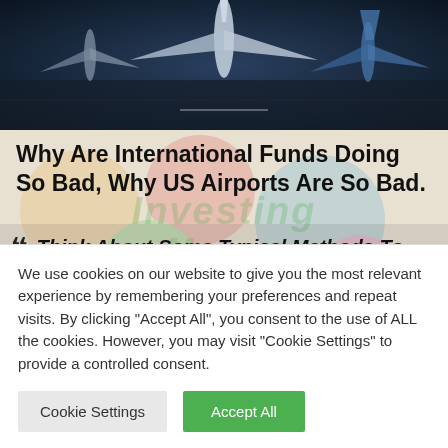[Figure (photo): Aerial view of airplanes at an airport, dark blue tones, top-down perspective]
Why Are International Funds Doing So Bad, Why US Airports Are So Bad.
““ Think About Some Typical Methods To Send Out Money To Jamaica
The practice was so prevalent as we were
We use cookies on our website to give you the most relevant experience by remembering your preferences and repeat visits. By clicking "Accept All", you consent to the use of ALL the cookies. However, you may visit "Cookie Settings" to provide a controlled consent.
Cookie Settings
Accept All